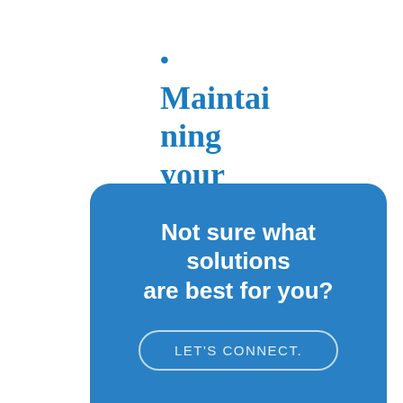•
Maintaining your Certification
Not sure what solutions are best for you?
LET'S CONNECT.